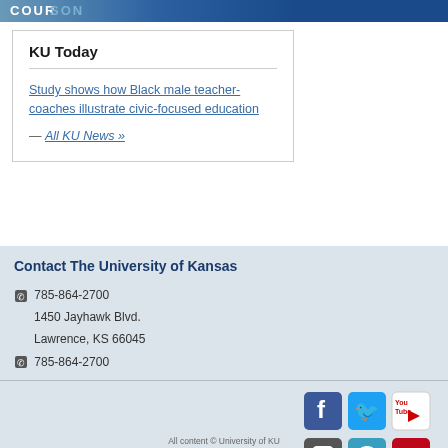[Figure (photo): University of Kansas header banner image with blue gradient]
KU Today
Study shows how Black male teacher-coaches illustrate civic-focused education
— All KU News »
Contact The University of Kansas
785-864-2700
1450 Jayhawk Blvd.
Lawrence, KS 66045
785-864-2700
[Figure (logo): Social media icons: Facebook, Twitter, YouTube, Instagram, Checkmark app, Pinterest]